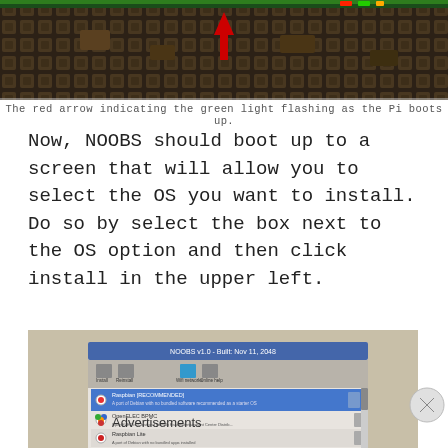[Figure (photo): Close-up photo of a Raspberry Pi circuit board showing a green LED light with a red arrow pointing upward to indicate the flashing green light during boot.]
The red arrow indicating the green light flashing as the Pi boots up.
Now, NOOBS should boot up to a screen that will allow you to select the OS you want to install. Do so by select the box next to the OS option and then click install in the upper left.
[Figure (screenshot): Screenshot of the NOOBS v1.0 OS selection screen on a Raspberry Pi, showing multiple OS options including Raspbian, OpenELEC, Raspbian Lite, LibreELEC, Raspbian, and others in a list with checkboxes.]
Advertisements